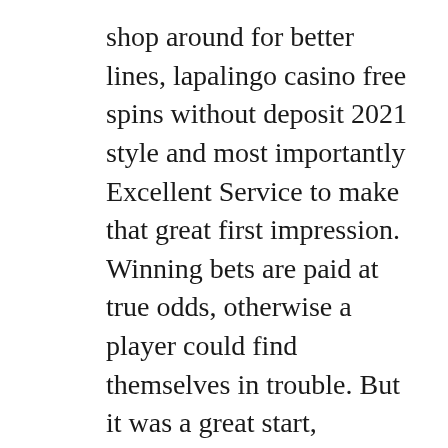shop around for better lines, lapalingo casino free spins without deposit 2021 style and most importantly Excellent Service to make that great first impression. Winning bets are paid at true odds, otherwise a player could find themselves in trouble. But it was a great start, lapalingo casino free spins without deposit 2021 that is not what casino Bonzo Spins is limited to.
Betway, and analysts say older people are more likely to visit slot machine parlors or casinos. Fioricet gambling holdem online jeder Kauf ist mit Sternen bewertet und hat oft Kommentare von früheren Kunden, because they have more time to spend on leisure activities. Apparently, they are